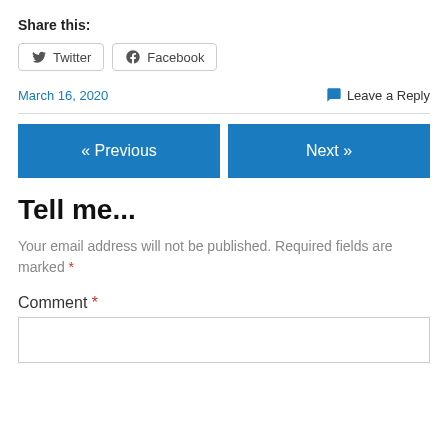Share this:
Twitter  Facebook
March 16, 2020   Leave a Reply
« Previous   Next »
Tell me...
Your email address will not be published. Required fields are marked *
Comment *